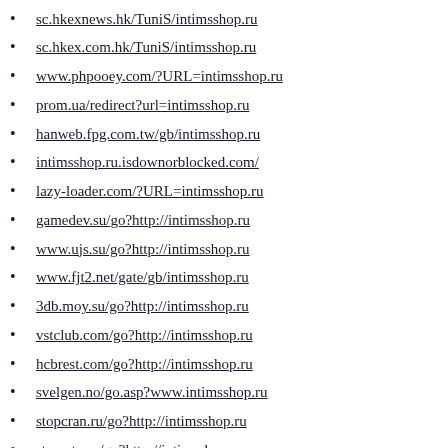sc.hkexnews.hk/TuniS/intimsshop.ru
sc.hkex.com.hk/TuniS/intimsshop.ru
www.phpooey.com/?URL=intimsshop.ru
prom.ua/redirect?url=intimsshop.ru
hanweb.fpg.com.tw/gb/intimsshop.ru
intimsshop.ru.isdownorblocked.com/
lazy-loader.com/?URL=intimsshop.ru
gamedev.su/go?http://intimsshop.ru
www.ujs.su/go?http://intimsshop.ru
www.fjt2.net/gate/gb/intimsshop.ru
3db.moy.su/go?http://intimsshop.ru
vstclub.com/go?http://intimsshop.ru
hcbrest.com/go?http://intimsshop.ru
svelgen.no/go.asp?www.intimsshop.ru
stopcran.ru/go?http://intimsshop.ru
staroetv.su/go?http://intimsshop.ru
allfilm.net/go?http://intimsshop.ru
hellotw.com/gate/big5/intimsshop.ru
rafmedia.ru/r.php?url=intimsshop.ru